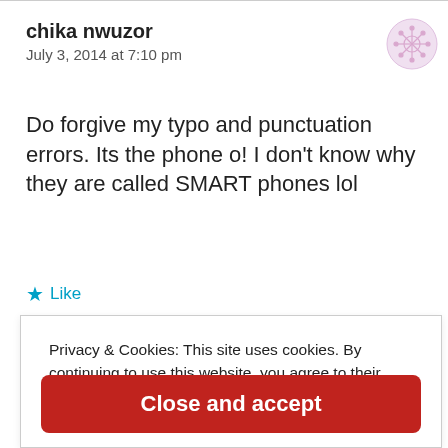chika nwuzor
July 3, 2014 at 7:10 pm
Do forgive my typo and punctuation errors. Its the phone o! I don't know why they are called SMART phones lol
★ Like
Privacy & Cookies: This site uses cookies. By continuing to use this website, you agree to their use. To find out more, including how to control cookies, see here: Cookie Policy
Close and accept
Chimamanda should like Okejo. I would try Mrs Chi…anda but I think Tonam. With that and and...